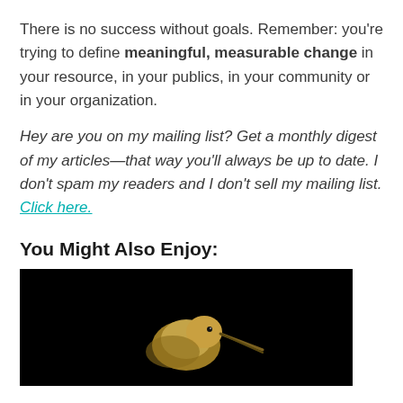There is no success without goals. Remember: you're trying to define meaningful, measurable change in your resource, in your publics, in your community or in your organization.
Hey are you on my mailing list? Get a monthly digest of my articles—that way you'll always be up to date. I don't spam my readers and I don't sell my mailing list. Click here.
You Might Also Enjoy:
[Figure (photo): A bird (hummingbird or similar) photographed against a black background, showing the head and beak area, partially cropped at bottom of page.]